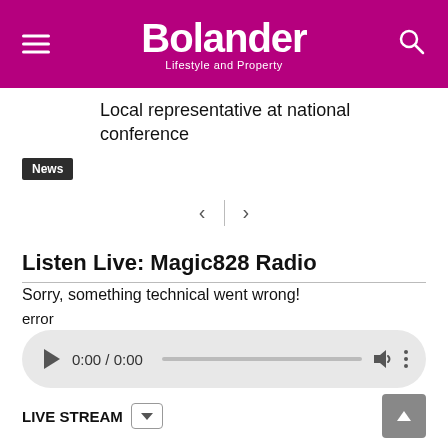Bolander — Lifestyle and Property
Local representative at national conference
News
[Figure (other): Navigation arrows (previous/next) with vertical divider]
Listen Live: Magic828 Radio
Sorry, something technical went wrong!
error
[Figure (other): Audio player control bar showing 0:00 / 0:00 with play button, progress bar, volume icon, and more options]
LIVE STREAM